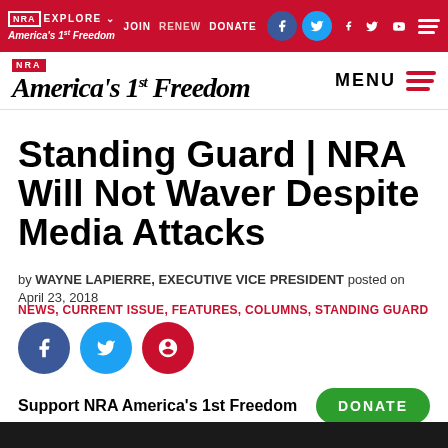NRA EXPLORE | JOIN | RENEW | DONATE | NRA America's 1st Freedom | MENU
Standing Guard | NRA Will Not Waver Despite Media Attacks
by WAYNE LAPIERRE, EXECUTIVE VICE PRESIDENT posted on April 23, 2018
NEWS, CURRENT ISSUE, FEATURES, COLUMNS, STANDING GUARD
[Figure (other): Social share buttons: Facebook, Twitter, Pinterest]
Support NRA America's 1st Freedom  DONATE
[Figure (photo): Dark photograph of a person, partially visible at bottom of page]